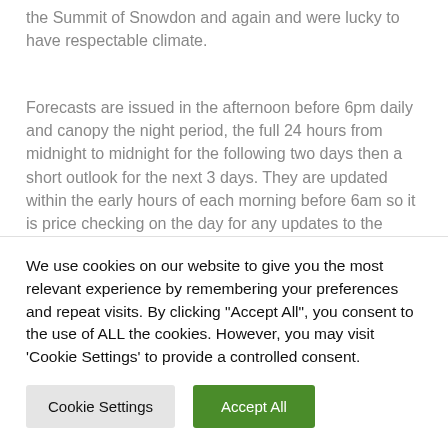the Summit of Snowdon and again and were lucky to have respectable climate.
Forecasts are issued in the afternoon before 6pm daily and canopy the night period, the full 24 hours from midnight to midnight for the following two days then a short outlook for the next 3 days. They are updated within the early hours of each morning before 6am so it is price checking on the day for any updates to the forecast. We use cookies to provide the absolute best experience on our website, assist improve our services,
We use cookies on our website to give you the most relevant experience by remembering your preferences and repeat visits. By clicking "Accept All", you consent to the use of ALL the cookies. However, you may visit 'Cookie Settings' to provide a controlled consent.